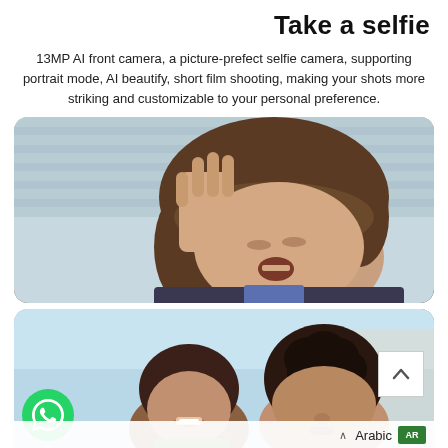Take a selfie
13MP AI front camera, a picture-prefect selfie camera, supporting portrait mode, AI beautify, short film shooting, making your shots more striking and customizable to your personal preference.
[Figure (photo): Young person taking a selfie, holding hand up near face with mouth open, viewed from below against light blue striped wall background]
[Figure (photo): Two young people (a girl and a boy) smiling, viewed from below against a bright sky background]